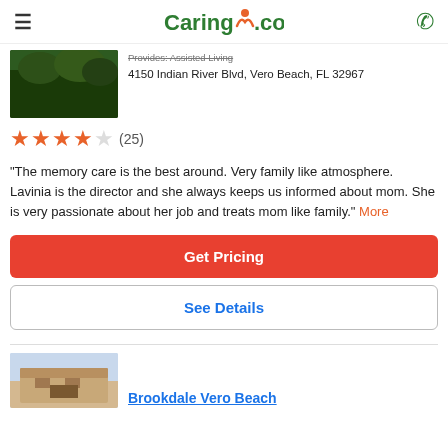Caring.com
Provides: Assisted Living
4150 Indian River Blvd, Vero Beach, FL 32967
★★★★☆ (25)
"The memory care is the best around. Very family like atmosphere. Lavinia is the director and she always keeps us informed about mom. She is very passionate about her job and treats mom like family." More
Get Pricing
See Details
Brookdale Vero Beach